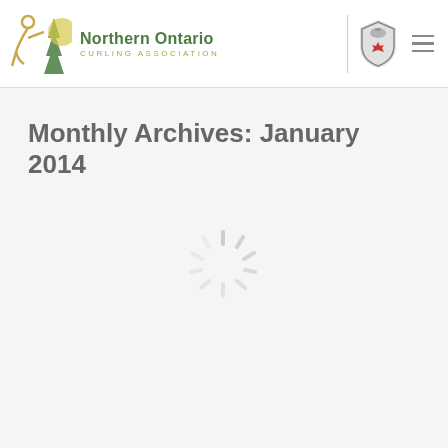Northern Ontario Curling Association
Monthly Archives: January 2014
[Figure (illustration): Loading spinner icon — a circular arrangement of short lines radiating from center, light gray color, indicating content loading]